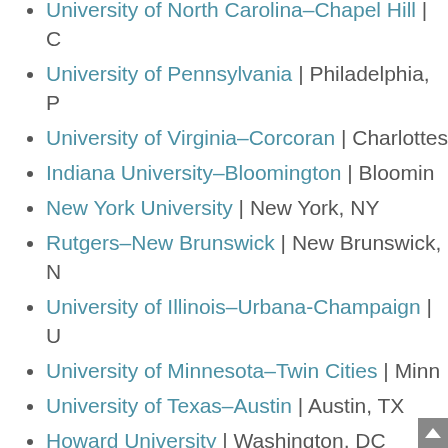University of North Carolina–Chapel Hill | Chapel Hill, NC
University of Pennsylvania | Philadelphia, PA
University of Virginia–Corcoran | Charlottesville, VA
Indiana University–Bloomington | Bloomington, IN
New York University | New York, NY
Rutgers–New Brunswick | New Brunswick, NJ
University of Illinois–Urbana-Champaign | Urbana-Champaign, IL
University of Minnesota–Twin Cities | Minneapolis, MN
University of Texas–Austin | Austin, TX
Howard University | Washington, DC
University of Massachusetts–Amherst | Amherst, MA
University of Arizona | Tucson, Arizona
University of Oregon | Eugene, OR
Georgetown University | Washington, DC
University of Notre Dame | Notre Dame, IN
Ohio State University | Columbus, OH